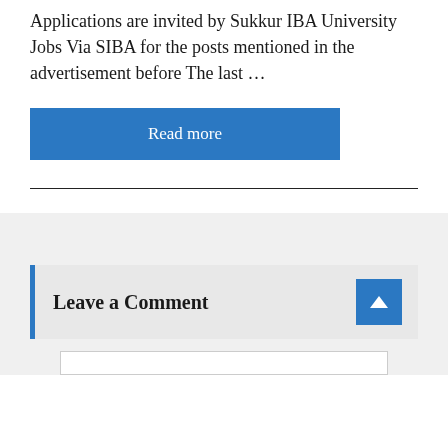Applications are invited by Sukkur IBA University Jobs Via SIBA for the posts mentioned in the advertisement before The last …
Read more
Leave a Comment